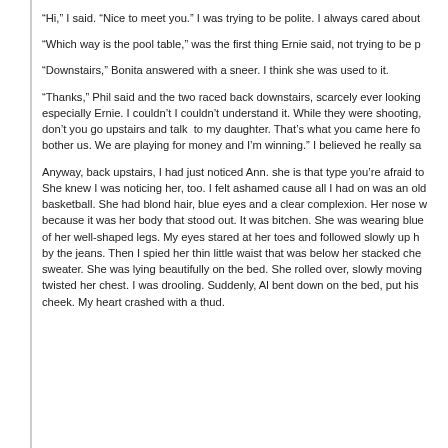“Hi,” I said. “Nice to meet you.” I was trying to be polite. I always cared about
“Which way is the pool table,” was the first thing Ernie said, not trying to be p
“Downstairs,” Bonita answered with a sneer. I think she was used to it.
“Thanks,” Phil said and the two raced back downstairs, scarcely ever looking especially Ernie. I couldn’t I couldn’t understand it. While they were shooting, don’t you go upstairs and talk  to my daughter. That’s what you came here fo bother us. We are playing for money and I’m winning.” I believed he really sa
Anyway, back upstairs, I had just noticed Ann. she is that type you’re afraid to She knew I was noticing her, too. I felt ashamed cause all I had on was an old basketball. She had blond hair, blue eyes and a clear complexion. Her nose w because it was her body that stood out. It was bitchen. She was wearing blue of her well-shaped legs. My eyes stared at her toes and followed slowly up h by the jeans. Then I spied her thin little waist that was below her stacked che sweater. She was lying beautifully on the bed. She rolled over, slowly moving twisted her chest. I was drooling. Suddenly, Al bent down on the bed, put his cheek. My heart crashed with a thud.